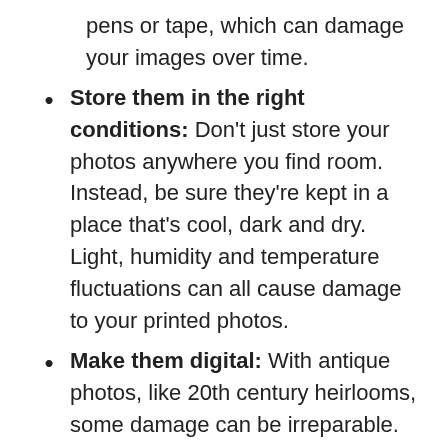pens or tape, which can damage your images over time.
Store them in the right conditions: Don't just store your photos anywhere you find room. Instead, be sure they're kept in a place that's cool, dark and dry. Light, humidity and temperature fluctuations can all cause damage to your printed photos.
Make them digital: With antique photos, like 20th century heirlooms, some damage can be irreparable. To preserve your images for future generations, consider having them scanned into digital files. You can do this at home with a high quality scanner, or search for local companies that will help you with the process. Even if you make digital replicas, professional archivists generally recommend that you hang on